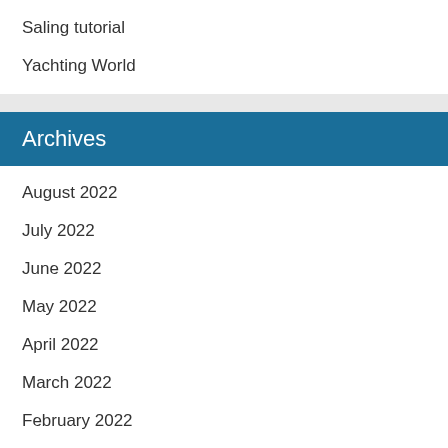Saling tutorial
Yachting World
Archives
August 2022
July 2022
June 2022
May 2022
April 2022
March 2022
February 2022
January 2022